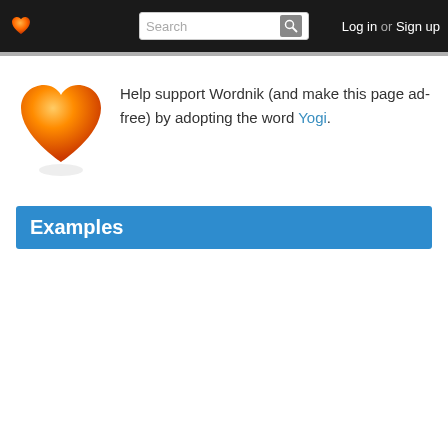Log in or Sign up
[Figure (illustration): Orange heart logo and promotional text: Help support Wordnik (and make this page ad-free) by adopting the word Yogi.]
Examples